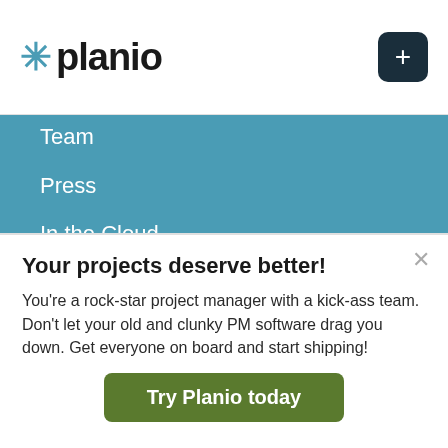* planio  +
Team
Press
In the Cloud
Free Data Migration
Redmine & Open Source
Blog
Your projects deserve better!
You're a rock-star project manager with a kick-ass team. Don't let your old and clunky PM software drag you down. Get everyone on board and start shipping!
Try Planio today